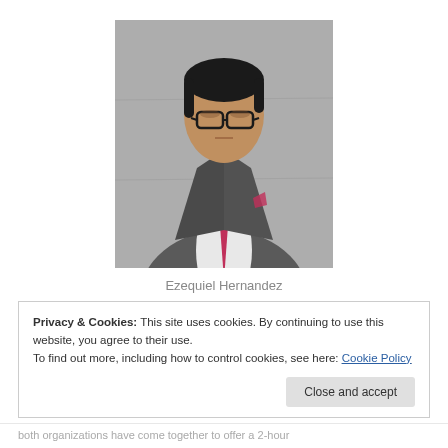[Figure (photo): Professional headshot of a man in a grey suit with pink/red tie and pocket square, glasses, standing against a concrete wall background]
Ezequiel Hernandez
Privacy & Cookies: This site uses cookies. By continuing to use this website, you agree to their use.
To find out more, including how to control cookies, see here: Cookie Policy
Close and accept
both organizations have come together to offer a 2-hour